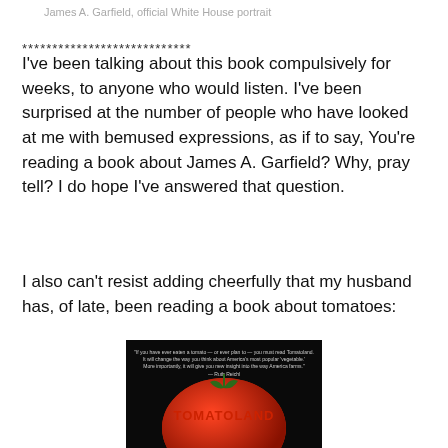James A. Garfield, official White House portrait
****************************
I've been talking about this book compulsively for weeks, to anyone who would listen. I've been surprised at the number of people who have looked at me with bemused expressions, as if to say, You're reading a book about James A. Garfield? Why, pray tell? I do hope I've answered that question.
I also can't resist adding cheerfully that my husband has, of late, been reading a book about tomatoes:
[Figure (photo): Book cover of 'Tomatoland' with a red tomato on a dark background and a blurb from Ruth Reichl at the top]